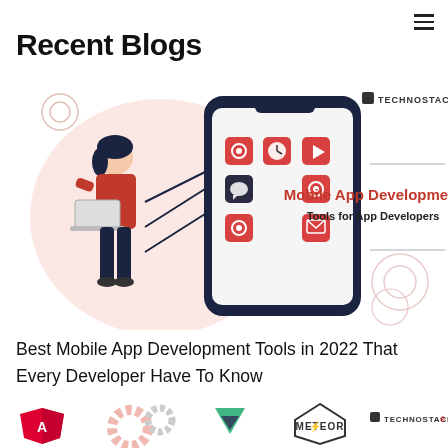☰
Recent Blogs
[Figure (illustration): Blog thumbnail image for Mobile App Development article. Shows a woman with a laptop connected to a large smartphone displaying app icons (settings, clock, play, chat, envelope). Red/pink color scheme on left side. Right side shows text: Mobile App Development Tools for App Developers, with TECHNOSTACKS logo in top right.]
Best Mobile App Development Tools in 2022 That Every Developer Have To Know
[Figure (illustration): Bottom of page showing partial second blog thumbnail with Angular logo, gear icons, Vue.js logo, Meteor logo, and TECHNOSTACKS branding.]